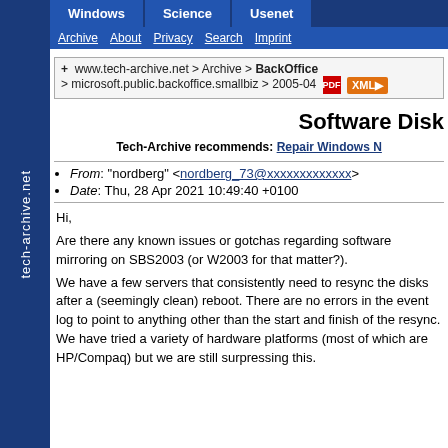tech-archive.net
Windows | Science | Usenet
Archive | About | Privacy | Search | Imprint
www.tech-archive.net > Archive > BackOffice > microsoft.public.backoffice.smallbiz > 2005-04
Software Disk
Tech-Archive recommends: Repair Windows
From: "nordberg" <nordberg_73@xxxxxxxxxxxxx>
Date: Thu, 28 Apr 2021 10:49:40 +0100
Hi,
Are there any known issues or gotchas regarding software mirroring on SBS2003 (or W2003 for that matter?).
We have a few servers that consistently need to resync the disks after a (seemingly clean) reboot. There are no errors in the event log to point to anything other than the start and finish of the resync. We have tried a variety of hardware platforms (most of which are HP/Compaq) but we are still surpressing this.